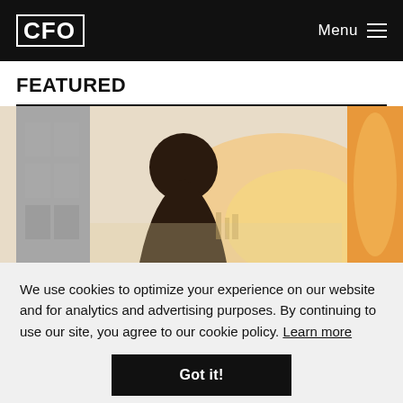CFO | Menu
FEATURED
[Figure (photo): A person silhouetted against a bright city skyline with warm orange and grey tones, architectural elements visible on both sides.]
We use cookies to optimize your experience on our website and for analytics and advertising purposes. By continuing to use our site, you agree to our cookie policy. Learn more
Got it!